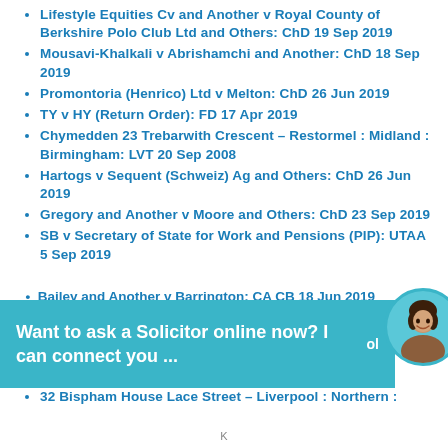Lifestyle Equities Cv and Another v Royal County of Berkshire Polo Club Ltd and Others: ChD 19 Sep 2019
Mousavi-Khalkali v Abrishamchi and Another: ChD 18 Sep 2019
Promontoria (Henrico) Ltd v Melton: ChD 26 Jun 2019
TY v HY (Return Order): FD 17 Apr 2019
Chymedden 23 Trebarwith Crescent – Restormel : Midland : Birmingham: LVT 20 Sep 2008
Hartogs v Sequent (Schweiz) Ag and Others: ChD 26 Jun 2019
Gregory and Another v Moore and Others: ChD 23 Sep 2019
SB v Secretary of State for Work and Pensions (PIP): UTAA 5 Sep 2019
[Figure (other): Chat overlay banner with photo of a woman, text: 'Want to ask a Solicitor online now? I can connect you ...']
32 Bispham House Lace Street – Liverpool : Northern : [partially visible]